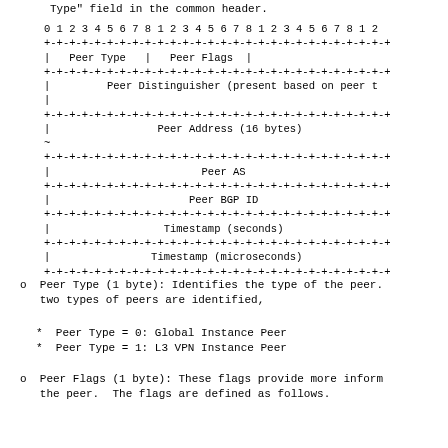Type" field in the common header.
[Figure (schematic): Packet header diagram showing fields: Peer Type, Peer Flags, Peer Distinguisher (present based on peer type), Peer Address (16 bytes), Peer AS, Peer BGP ID, Timestamp (seconds), Timestamp (microseconds), with bit numbering 0-31 across the top.]
o  Peer Type (1 byte): Identifies the type of the peer. two types of peers are identified,
*  Peer Type = 0: Global Instance Peer
*  Peer Type = 1: L3 VPN Instance Peer
o  Peer Flags (1 byte): These flags provide more information about the peer.  The flags are defined as follows.